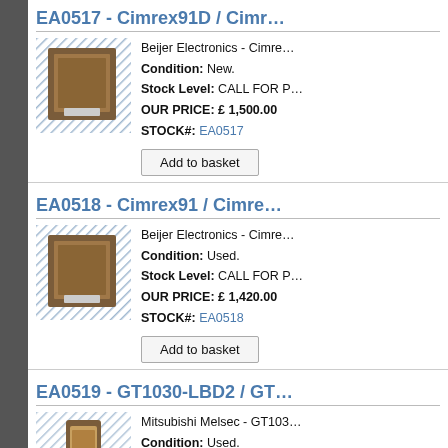EA0517 - Cimrex91D / Cimr…
[Figure (photo): Product photo of Cimrex91D with hatched border pattern]
Beijer Electronics - Cimre…
Condition: New.
Stock Level: CALL FOR P…
OUR PRICE: £ 1,500.00
STOCK#: EA0517
Add to basket
EA0518 - Cimrex91 / Cimre…
[Figure (photo): Product photo of Cimrex91 with hatched border pattern]
Beijer Electronics - Cimre…
Condition: Used.
Stock Level: CALL FOR P…
OUR PRICE: £ 1,420.00
STOCK#: EA0518
Add to basket
EA0519 - GT1030-LBD2 / GT…
[Figure (photo): Product photo of GT1030-LBD2 with hatched border pattern]
Mitsubishi Melsec - GT103…
Condition: Used.
Stock Level: 2
OUR PRICE: £ 195.00
STOCK#: EA0519
Add to basket